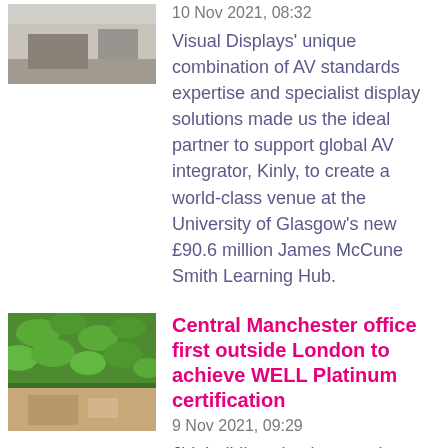[Figure (photo): Photo of an indoor room, partially visible at top of page]
10 Nov 2021, 08:32
Visual Displays' unique combination of AV standards expertise and specialist display solutions made us the ideal partner to support global AV integrator, Kinly, to create a world-class venue at the University of Glasgow's new £90.6 million James McCune Smith Learning Hub.
[Figure (photo): Photo of an office interior with a green living plant wall and seating area]
Central Manchester office first outside London to achieve WELL Platinum certification
9 Nov 2021, 09:29
JLL building simultaneously achieved WELL Platinum...